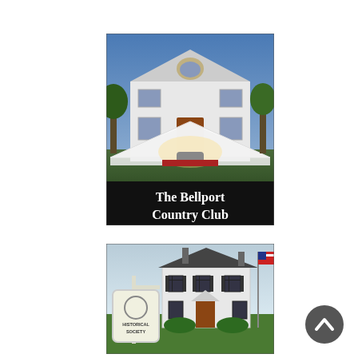[Figure (photo): Photo of The Bellport Country Club building at dusk with a white tent/awning, lit entrance, and trees. Black banner at bottom reads 'The Bellport Country Club' in white bold serif text.]
[Figure (photo): Photo of a white colonial-style building with dark shutters and a Historical Society sign in front, with an American flag on a pole to the right.]
[Figure (other): Back-to-top navigation button: dark gray circle with white upward-pointing chevron arrow.]